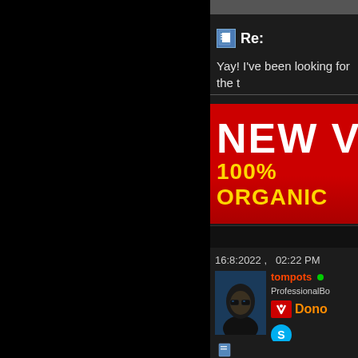[Figure (screenshot): Forum thread screenshot showing dark-themed interface. Left half is black. Right panel shows: a 'Re:' post header with document icon, partial post text 'Yay! I've been looking for the t', an advertisement banner with red background showing 'NEW V' and '100% ORGANIC' in yellow, a timestamp '16:8:2022, 02:22 PM', a user profile with avatar showing a hooded figure with dark glasses, username 'tompots' with green online dot, rank 'ProfessionalBo', a donor badge, and a Skype icon.]